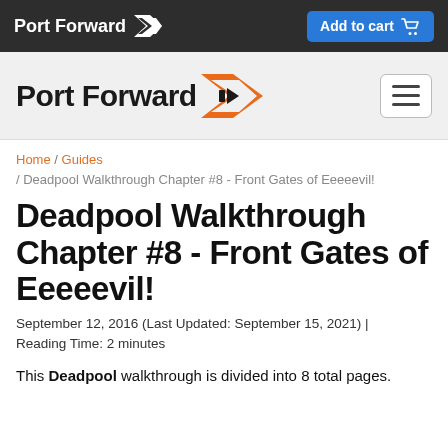Port Forward | Add to cart
[Figure (logo): Port Forward logo with orange arrow chevron in navigation bar]
Home / Guides / Deadpool Walkthrough Chapter #8 - Front Gates of Eeeeevil!
Deadpool Walkthrough Chapter #8 - Front Gates of Eeeeevil!
September 12, 2016 (Last Updated: September 15, 2021) | Reading Time: 2 minutes
This Deadpool walkthrough is divided into 8 total pages.